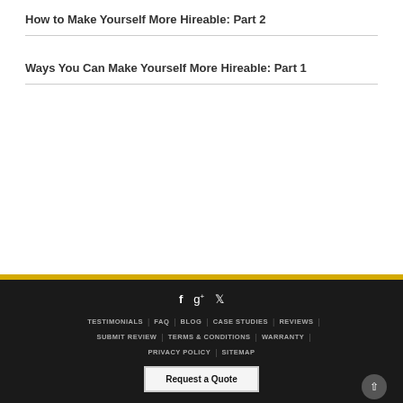How to Make Yourself More Hireable: Part 2
Ways You Can Make Yourself More Hireable: Part 1
Social icons: f, g+, twitter | TESTIMONIALS | FAQ | BLOG | CASE STUDIES | REVIEWS | SUBMIT REVIEW | TERMS & CONDITIONS | WARRANTY | PRIVACY POLICY | SITEMAP | Request a Quote